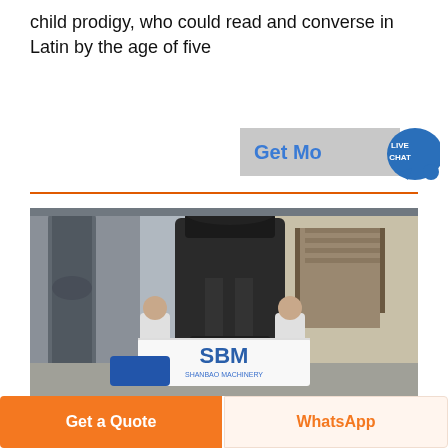child prodigy, who could read and converse in Latin by the age of five
[Figure (other): Button labeled 'Get More' with a live chat speech bubble icon in blue/teal]
[Figure (photo): Industrial facility photo showing two workers in white coats holding an SBM Shanbao Machinery branded banner in front of large industrial grinding/milling equipment with pipes and staircase in the background]
Get a Quote
WhatsApp